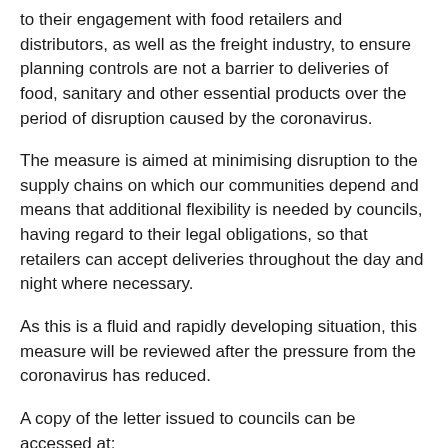to their engagement with food retailers and distributors, as well as the freight industry, to ensure planning controls are not a barrier to deliveries of food, sanitary and other essential products over the period of disruption caused by the coronavirus.
The measure is aimed at minimising disruption to the supply chains on which our communities depend and means that additional flexibility is needed by councils, having regard to their legal obligations, so that retailers can accept deliveries throughout the day and night where necessary.
As this is a fluid and rapidly developing situation, this measure will be reviewed after the pressure from the coronavirus has reduced.
A copy of the letter issued to councils can be accessed at:
Covid-19: Planning Controls and Deliveries